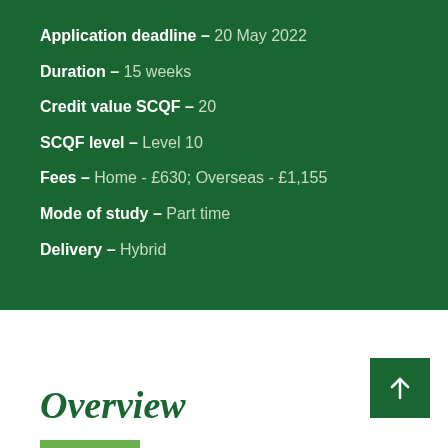Application deadline – 20 May 2022
Duration – 15 weeks
Credit value SCQF – 20
SCQF level – Level 10
Fees – Home - £630; Overseas - £1,155
Mode of study – Part time
Delivery – Hybrid
Overview